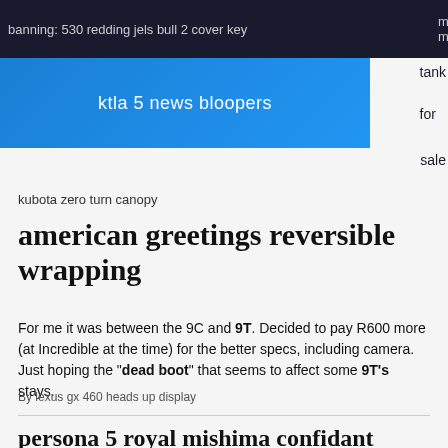banning: 530 redding jels bull 2 cover key
ktla 5 news bloopers
tank for sale
kubota zero turn canopy
american greetings reversible wrapping
For me it was between the 9C and 9T. Decided to pay R600 more (at Incredible at the time) for the better specs, including camera. Just hoping the "dead boot" that seems to affect some 9T's stays.
By lexus gx 460 heads up display
persona 5 royal mishima confidant
By ps3 servers 2021 and spring jparepository